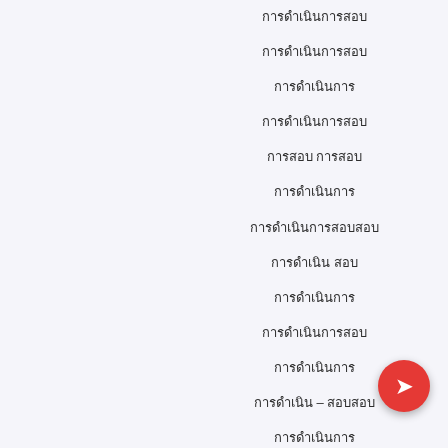[Thai/Indic script text - multiple lines of script content]